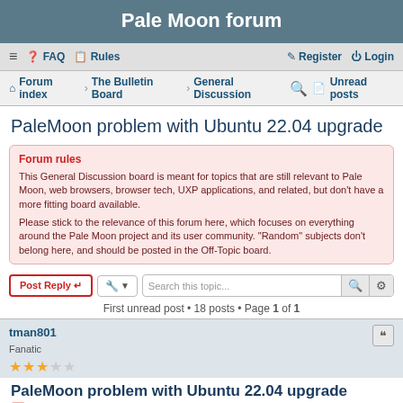Pale Moon forum
≡  FAQ  Rules  Register  Login
Forum index · The Bulletin Board · General Discussion  🔍 Unread posts
PaleMoon problem with Ubuntu 22.04 upgrade
Forum rules
This General Discussion board is meant for topics that are still relevant to Pale Moon, web browsers, browser tech, UXP applications, and related, but don't have a more fitting board available.

Please stick to the relevance of this forum here, which focuses on everything around the Pale Moon project and its user community. "Random" subjects don't belong here, and should be posted in the Off-Topic board.
Post Reply  [tools]  Search this topic...  First unread post • 18 posts • Page 1 of 1
tman801
Fanatic
★★★☆☆
PaleMoon problem with Ubuntu 22.04 upgrade
2022-05-06, 21:31
I have a Dell Inspiron 1564 laptop running Ubuntu 20.04 & Pale Moon